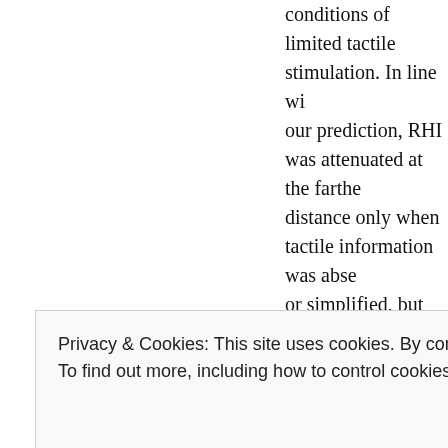conditions of limited tactile stimulation. In line with our prediction, RHI was attenuated at the farther distance only when tactile information was absent or simplified, but the attenuation was effectively prevented by the use of complex tactile stimulation—in this case, RHI was comparably vivid at both distances. However, passive proprioceptive acuity was not related to RHI strength in either of the conditions. The results indicate that complex-structured tactile signals can override the influence of proprioceptive signals in body attribution processes. These
Privacy & Cookies: This site uses cookies. By continuing to use this website, you agree to their use.
To find out more, including how to control cookies, see here: Cookie Policy